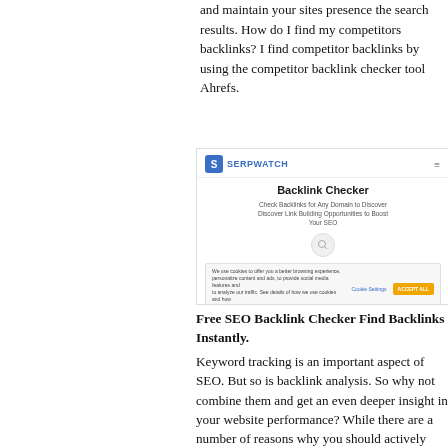and maintain your sites presence the search results. How do I find my competitors backlinks? I find competitor backlinks by using the competitor backlink checker tool Ahrefs.
[Figure (screenshot): Screenshot of the Serpwatch website showing the Backlink Checker tool page with logo, navigation, title 'Backlink Checker', subtitle text about checking backlinks, a search icon, and a cookie consent banner at the bottom.]
Free SEO Backlink Checker Find Backlinks Instantly.
Keyword tracking is an important aspect of SEO. But so is backlink analysis. So why not combine them and get an even deeper insight in your website performance? While there are a number of reasons why you should actively monitor your